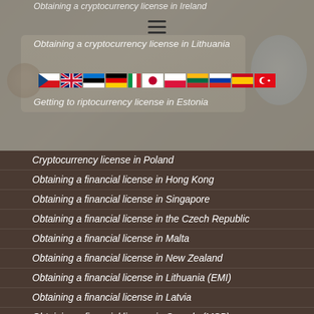Obtaining a cryptocurrency license in Ireland
Obtaining a cryptocurrency license in Lithuania
[Figure (other): Hamburger menu icon and country flag icons row (Czech, UK, Estonian, German, Italian, Japanese, Polish, Lithuanian, Russian, Spanish, Turkish flags)]
Getting to riptocurrency license in Estonia
Cryptocurrency license in Poland
Obtaining a financial license in Hong Kong
Obtaining a financial license in Singapore
Obtaining a financial license in the Czech Republic
Obtaining a financial license in Malta
Obtaining a financial license in New Zealand
Obtaining a financial license in Lithuania (EMI)
Obtaining a financial license in Latvia
Obtaining a financial license in Canada (MSB)
Obtaining a financial license in Georgia
Obtaining a financial license in Hong Kong (MSO)